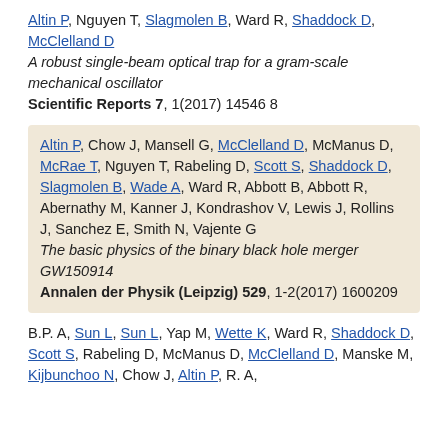Altin P, Nguyen T, Slagmolen B, Ward R, Shaddock D, McClelland D
A robust single-beam optical trap for a gram-scale mechanical oscillator
Scientific Reports 7, 1(2017) 14546 8
Altin P, Chow J, Mansell G, McClelland D, McManus D, McRae T, Nguyen T, Rabeling D, Scott S, Shaddock D, Slagmolen B, Wade A, Ward R, Abbott B, Abbott R, Abernathy M, Kanner J, Kondrashov V, Lewis J, Rollins J, Sanchez E, Smith N, Vajente G
The basic physics of the binary black hole merger GW150914
Annalen der Physik (Leipzig) 529, 1-2(2017) 1600209
B.P. A, Sun L, Sun L, Yap M, Wette K, Ward R, Shaddock D, Scott S, Rabeling D, McManus D, McClelland D, Manske M, Kijbunchoo N, Chow J, Altin P, R. A,